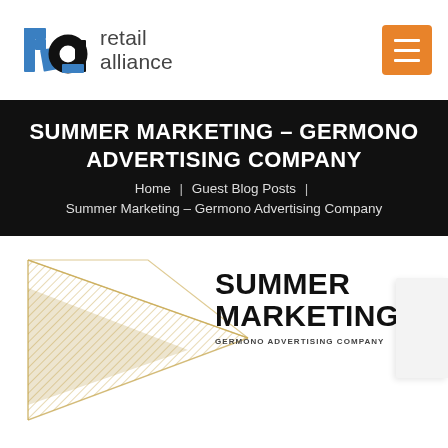[Figure (logo): Retail Alliance logo: stylized 'ra' letterform in blue and black, with 'retail alliance' text in grey]
SUMMER MARKETING – GERMONO ADVERTISING COMPANY
Home | Guest Blog Posts | Summer Marketing – Germono Advertising Company
[Figure (illustration): Gold geometric chevron/triangle pattern with 'SUMMER MARKETING' bold text and 'GERMONO ADVERTISING COMPANY' subtitle below]